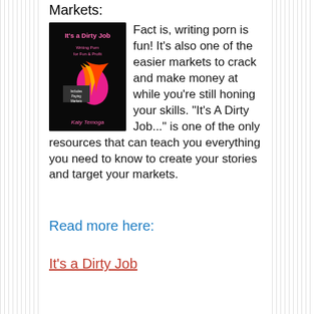Markets:
[Figure (illustration): Book cover for 'It's a Dirty Job: Writing Porn for Fun & Profit' by Katy Temoga, featuring colorful feather and flower design on dark background]
Fact is, writing porn is fun! It's also one of the easier markets to crack and make money at while you're still honing your skills. "It's A Dirty Job..." is one of the only resources that can teach you everything you need to know to create your stories and target your markets.
Read more here:
It's a Dirty Job